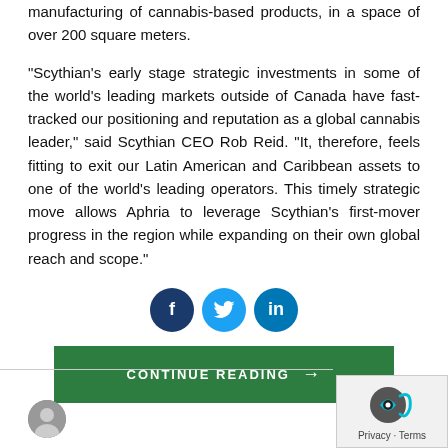manufacturing of cannabis-based products, in a space of over 200 square meters.
"Scythian's early stage strategic investments in some of the world's leading markets outside of Canada have fast-tracked our positioning and reputation as a global cannabis leader," said Scythian CEO Rob Reid. "It, therefore, feels fitting to exit our Latin American and Caribbean assets to one of the world's leading operators. This timely strategic move allows Aphria to leverage Scythian's first-mover progress in the region while expanding on their own global reach and scope."
[Figure (infographic): Social media share icons: Facebook (dark blue circle with f), Twitter (light blue circle with bird icon), LinkedIn (blue circle with in)]
CONTINUE READING →